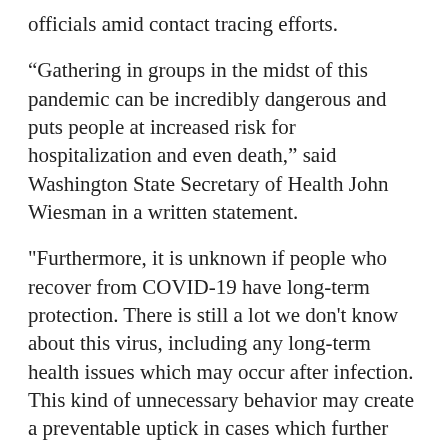officials amid contact tracing efforts.
“Gathering in groups in the midst of this pandemic can be incredibly dangerous and puts people at increased risk for hospitalization and even death,” said Washington State Secretary of Health John Wiesman in a written statement.
"Furthermore, it is unknown if people who recover from COVID-19 have long-term protection. There is still a lot we don't know about this virus, including any long-term health issues which may occur after infection. This kind of unnecessary behavior may create a preventable uptick in cases which further slows our state's ability to gradually re-open."
Camping not reopening at Washington State Parks until June 1 at earliest
4:14 p.m. – [Feedback] hington state parks reopened for